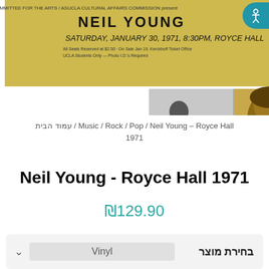[Figure (photo): Neil Young concert poster and album covers: A yellow concert poster reading 'NEIL YOUNG SATURDAY, JANUARY 30, 1971, 8:30PM, ROYCE HALL' with smaller photos of album art showing Neil Young with guitar]
Music / Rock / Pop / Neil Young – Royce Hall / עמוד הבית 1971
Neil Young - Royce Hall 1971
₪129.90
בחירת מוצר Vinyl